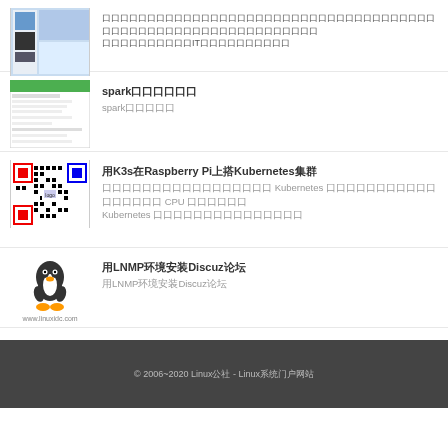（truncated CJK text）— IT（CJK text）
spark（CJK）
spark（CJK）
用K3s在Raspberry Pi上搭Kubernetes集群
（CJK description about Kubernetes and CPU）
用LNMP环境安装Discuz论坛
用LNMP环境安装Discuz论坛
用LNMP环境升级PHP
用LNMP环境升级PHP
© 2006~2020 Linux公社 - Linux系统门户网站